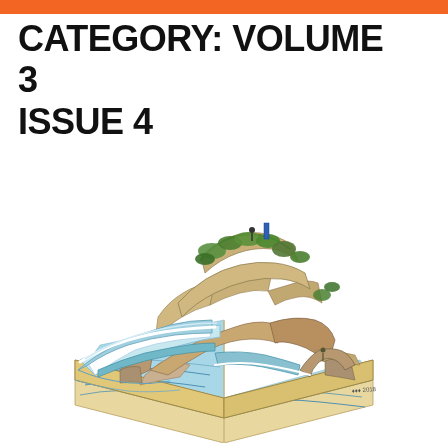CATEGORY: VOLUME 3 ISSUE 4
[Figure (illustration): A detailed illustration of a rocky coastal cliff with green vegetation on top, an ocean wave crashing through an arch at its base, all sitting atop an open book whose pages form the seascape and shoreline below. A small figure and blue structure visible at the cliff top. Artist signature and year visible at bottom right of illustration.]